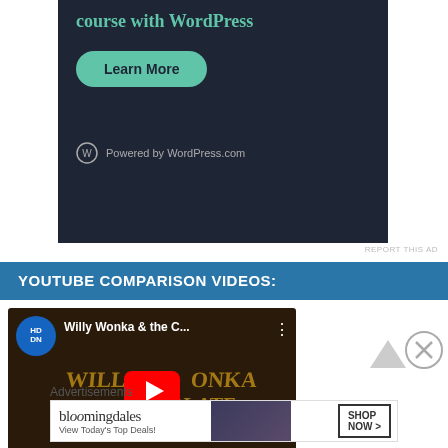[Figure (screenshot): WordPress advertisement banner with dark background showing 'course with WordPress' text and a teal 'Learn More' button, with 'Powered by WordPress.com' at bottom]
REPORT THIS AD
YOUTUBE COMPARISON VIDEOS:
[Figure (screenshot): YouTube video thumbnail for 'Willy Wonka & the C...' showing the HD DN channel logo, video title, three-dot menu, and Willy Wonka & the Chocolate Factory movie title text with a YouTube play button overlay]
Advertisements
[Figure (screenshot): Bloomingdale's advertisement showing 'bloomingdales View Today's Top Deals!' with a woman in a hat and 'SHOP NOW >' button]